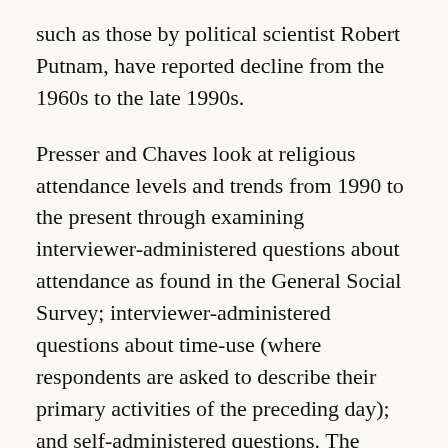such as those by political scientist Robert Putnam, have reported decline from the 1960s to the late 1990s.
Presser and Chaves look at religious attendance levels and trends from 1990 to the present through examining interviewer-administered questions about attendance as found in the General Social Survey; interviewer-administered questions about time-use (where respondents are asked to describe their primary activities of the preceding day); and self-administered questions. The authors find that weekly attendance at religious services has been stable between 1990 and the present. Taking a longer view, Presser and Chaves argue that the best evidence–from time-use studies– suggests that weekly